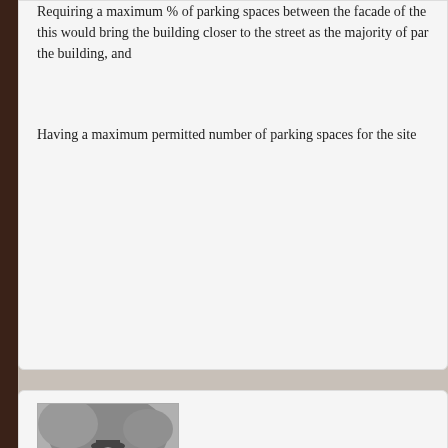Requiring a maximum % of parking spaces between the facade of the building, this would bring the building closer to the street as the majority of parking behind the building, and
Having a maximum permitted number of parking spaces for the site
[Figure (photo): Black and white photo of John Davidson, a person outdoors]
John Davidson
February 9, 2011 at 11:33 am
I totally agree with this article and having visited the site, I can say that additional hurdles on downtown residents. For example, now to access through two psychological and physical barriers that limit and funnel to I-70.
Initially, this may not seem like a large problem, but if you are trying to really are struggling to find a safe and direct route. Further, from a civil moving the BMV that services the downtown community, further from they have access to the site.